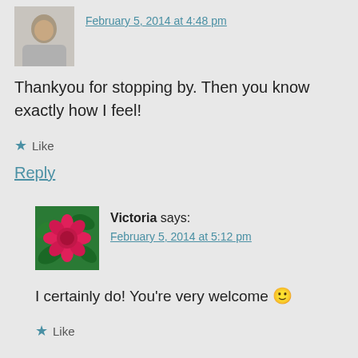February 5, 2014 at 4:48 pm
Thankyou for stopping by. Then you know exactly how I feel!
★ Like
Reply
Victoria says:
February 5, 2014 at 5:12 pm
I certainly do! You're very welcome 🙂
★ Like